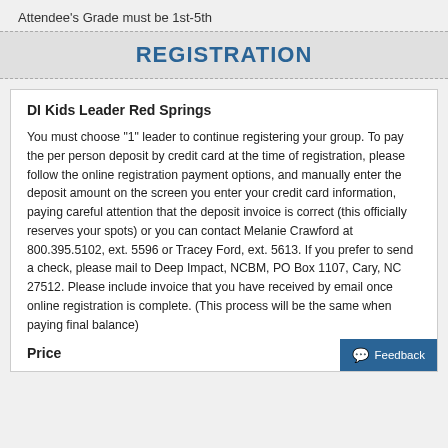Attendee's Grade must be 1st-5th
REGISTRATION
DI Kids Leader Red Springs
You must choose "1" leader to continue registering your group. To pay the per person deposit by credit card at the time of registration, please follow the online registration payment options, and manually enter the deposit amount on the screen you enter your credit card information, paying careful attention that the deposit invoice is correct (this officially reserves your spots) or you can contact Melanie Crawford at 800.395.5102, ext. 5596 or Tracey Ford, ext. 5613. If you prefer to send a check, please mail to Deep Impact, NCBM, PO Box 1107, Cary, NC 27512. Please include invoice that you have received by email once online registration is complete. (This process will be the same when paying final balance)
Price